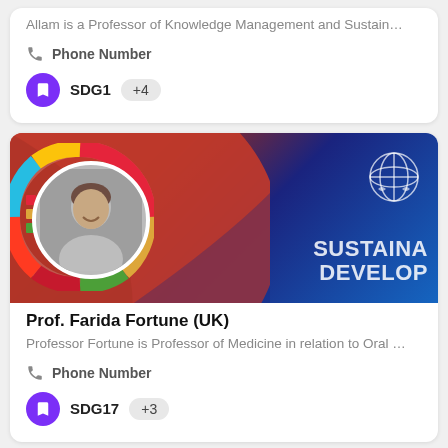Allam is a Professor of Knowledge Management and Sustain…
Phone Number
SDG1  +4
[Figure (photo): Banner image for Prof. Farida Fortune with UN Sustainable Development Goals branding, red and dark blue background, circular SDG wheel, profile photo of a woman smiling, UN logo, and text reading SUSTAINA DEVELOP]
Prof. Farida Fortune (UK)
Professor Fortune is Professor of Medicine in relation to Oral …
Phone Number
SDG17  +3